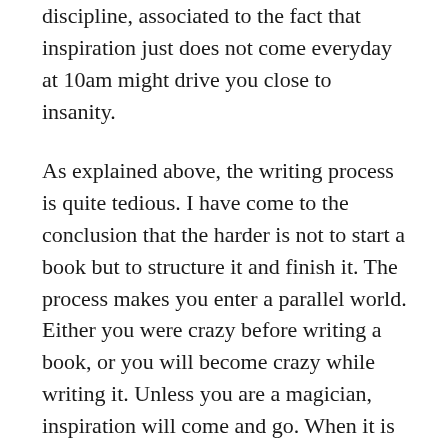discipline, associated to the fact that inspiration just does not come everyday at 10am might drive you close to insanity.
As explained above, the writing process is quite tedious. I have come to the conclusion that the harder is not to start a book but to structure it and finish it. The process makes you enter a parallel world. Either you were crazy before writing a book, or you will become crazy while writing it. Unless you are a magician, inspiration will come and go. When it is there, it usually comes at the wrong moment, such as the one hour where you decided to go out to buy some food, while being in the shower with no pen or paper to write it down, late when you are supposed to wake up the next day etc. When you have a whole day to write, planned a long time ahead, nothing interesting comes to mind. When inspiration does come, and you feel like you are on to something, about